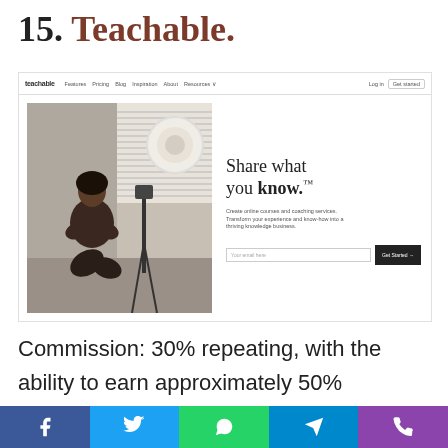15. Teachable.
[Figure (screenshot): Screenshot of Teachable website homepage showing nav bar with logo and links, a hero section with a photo of a woman in a studio setting on the left, and 'Share what you know.™' headline with subtext and email signup on the right.]
Commission: 30% repeating, with the ability to earn approximately 50% commission through monthly perks.